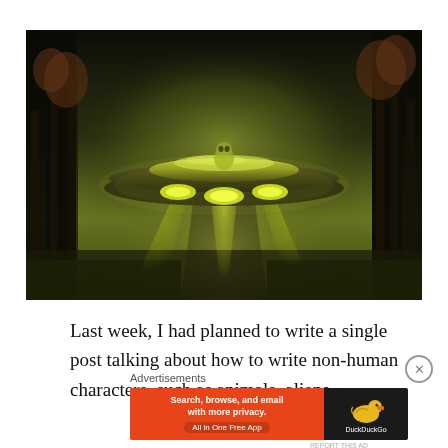[Figure (photo): A UFO flying saucer with glowing yellow-green lights hovering over a dark foggy forest road at night. The saucer is green and dark-colored with bright yellow-green beams of light underneath.]
Last week, I had planned to write a single post talking about how to write non-human characters, such as animals, aliens,
Advertisements
[Figure (screenshot): DuckDuckGo advertisement banner: orange left side reads 'Search, browse, and email with more privacy. All in One Free App' and dark right side shows DuckDuckGo duck logo and brand name.]